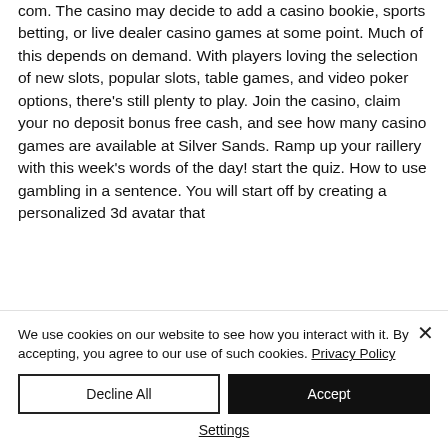com. The casino may decide to add a casino bookie, sports betting, or live dealer casino games at some point. Much of this depends on demand. With players loving the selection of new slots, popular slots, table games, and video poker options, there's still plenty to play. Join the casino, claim your no deposit bonus free cash, and see how many casino games are available at Silver Sands. Ramp up your raillery with this week's words of the day! start the quiz. How to use gambling in a sentence. You will start off by creating a personalized 3d avatar that
We use cookies on our website to see how you interact with it. By accepting, you agree to our use of such cookies. Privacy Policy
Decline All
Accept
Settings